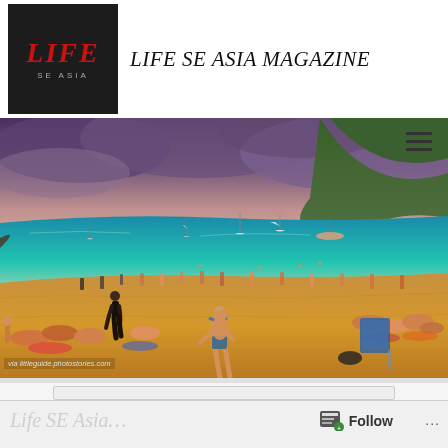[Figure (logo): Life SE Asia magazine logo — dark background with red italic LIFE text and grey SE ASIA text below]
LIFE SE ASIA MAGAZINE
[Figure (photo): Panoramic beach scene with golden sand, turquoise sea, sailing boats, green hills, dramatic cloudy sky, and many beachgoers including a woman in a bikini in the foreground]
via littleguide.photostories.com
[Figure (other): WordPress Follow button bar at the bottom of the page with follow icon and three-dot menu]